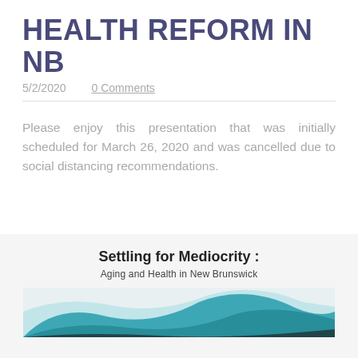HEALTH REFORM IN NB
5/2/2020       0 Comments
Please enjoy this presentation that was initially scheduled for March 26, 2020 and was cancelled due to social distancing recommendations.
[Figure (screenshot): A slide preview showing title 'Settling for Mediocrity :' and subtitle 'Aging and Health in New Brunswick' with a teal/dark wave graphic at the bottom.]